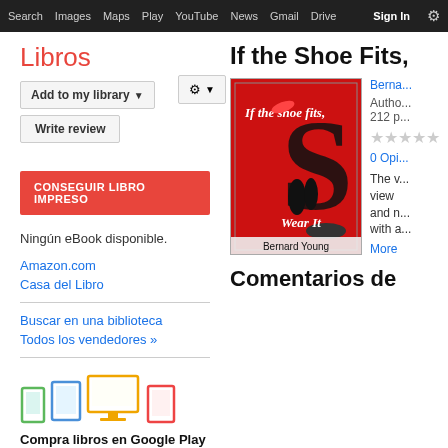Search  Images  Maps  Play  YouTube  News  Gmail  Drive  More  Sign In
Libros
Add to my library ▼   Write review   ⚙ ▼
CONSEGUIR LIBRO IMPRESO
Ningún eBook disponible.
Amazon.com
Casa del Libro
Buscar en una biblioteca
Todos los vendedores »
[Figure (illustration): Device icons: phone (green), tablet (blue), monitor (yellow), e-reader (red)]
Compra libros en Google Play
Explora la mayor tienda de eBooks del
If the Shoe Fits,
[Figure (photo): Book cover: 'If the Shoe Fits, Wear It' by Bernard Young. Red background with large black letter S and silhouette of couple, shoes around it.]
Berna...
Author
212 p
★★
0 Opi...
The v...
view
and n
with a
More
Comentarios de